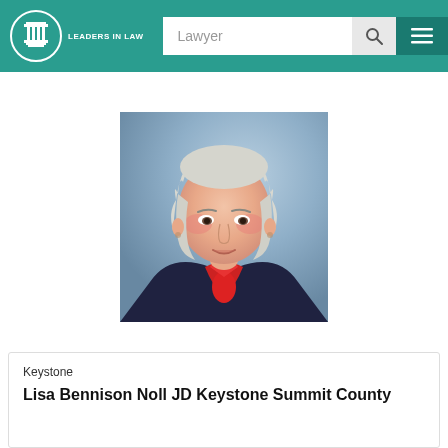LEADERS IN LAW | Lawyer [search bar]
[Figure (photo): Professional headshot of Lisa Bennison Noll JD, a woman with short white/silver hair, wearing a dark jacket with a red scarf/bow, photographed against a blue-grey background.]
Keystone
Lisa Bennison Noll JD Keystone Summit County